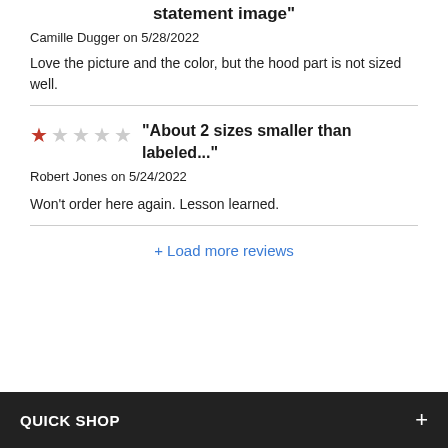statement image"
Camille Dugger on 5/28/2022
Love the picture and the color, but the hood part is not sized well.
"About 2 sizes smaller than labeled..."
Robert Jones on 5/24/2022
Won't order here again. Lesson learned.
+ Load more reviews
QUICK SHOP